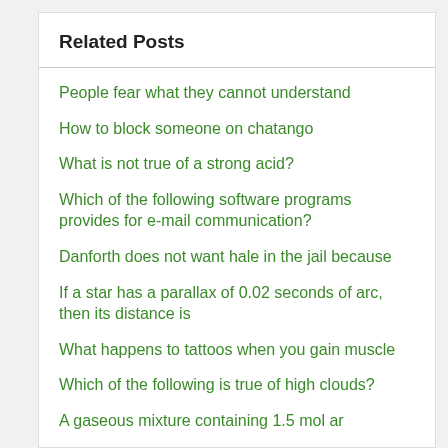Related Posts
People fear what they cannot understand
How to block someone on chatango
What is not true of a strong acid?
Which of the following software programs provides for e-mail communication?
Danforth does not want hale in the jail because
If a star has a parallax of 0.02 seconds of arc, then its distance is
What happens to tattoos when you gain muscle
Which of the following is true of high clouds?
A gaseous mixture containing 1.5 mol ar